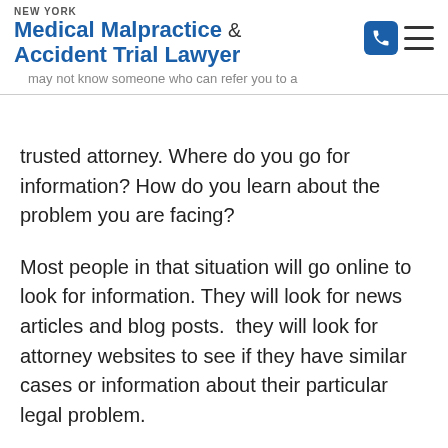NEW YORK Medical Malpractice & Accident Trial Lawyer
trusted attorney. Where do you go for information? How do you learn about the problem you are facing?
Most people in that situation will go online to look for information. They will look for news articles and blog posts.  they will look for attorney websites to see if they have similar cases or information about their particular legal problem.
Because there were so few reliable sources for great information, I felt compelled to create a book to help you...